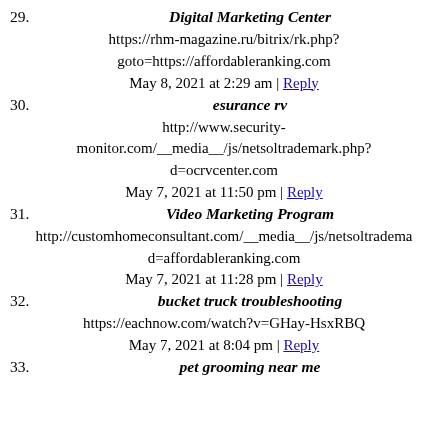29. Digital Marketing Center
https://rhm-magazine.ru/bitrix/rk.php?goto=https://affordableranking.com
May 8, 2021 at 2:29 am | Reply
30. esurance rv
http://www.security-monitor.com/__media__/js/netsoltrademark.php?d=ocrvcenter.com
May 7, 2021 at 11:50 pm | Reply
31. Video Marketing Program
http://customhomeconsultant.com/__media__/js/netsoltrademark.php?d=affordableranking.com
May 7, 2021 at 11:28 pm | Reply
32. bucket truck troubleshooting
https://eachnow.com/watch?v=GHay-HsxRBQ
May 7, 2021 at 8:04 pm | Reply
33. pet grooming near me